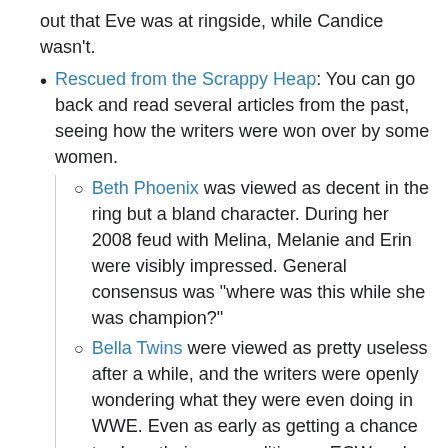out that Eve was at ringside, while Candice wasn't.
Rescued from the Scrappy Heap: You can go back and read several articles from the past, seeing how the writers were won over by some women.
Beth Phoenix was viewed as decent in the ring but a bland character. During her 2008 feud with Melina, Melanie and Erin were visibly impressed. General consensus was "where was this while she was champion?"
Bella Twins were viewed as pretty useless after a while, and the writers were openly wondering what they were even doing in WWE. Even as early as getting a chance to show their personalities on ECW and especially after their Face–Heel Turn in 2011, they were soon beloved by most of the writers.
Brooke Adams was met with a roll of the eye when she popped up in TNA - and used as an example of how desperate they were to hire someone who used to be